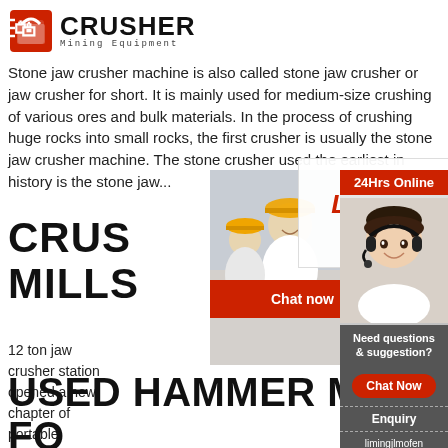[Figure (logo): Crusher Mining Equipment logo with red shopping bag icon and bold CRUSHER text]
Stone jaw crusher machine is also called stone jaw crusher or jaw crusher for short. It is mainly used for medium-size crushing of various ores and bulk materials. In the process of crushing huge rocks into small rocks, the first crusher is usually the stone jaw crusher machine. The stone crusher used the earliest in history is the stone jaw...
CRUS... MILLS
12 ton jaw crusher station opened a new chapter of portable crushing. Road crushing equipment for sale Liming(Shanghai) crushers for sale Grinding stone material in Russia All kinds of stone cruser
[Figure (photo): Live Chat popup overlay showing workers in yellow hard hats, LIVE CHAT title in red italic, 'Click for a Free Consultation' subtitle, Chat now and Chat later buttons]
[Figure (photo): Customer service agent with headset on right sidebar, with 24Hrs Online banner, Need questions & suggestion panel, Chat Now button, Enquiry section, limingjlmofen@sina.com email]
USED HAMMER MILL FOR SALE STONE CRUSHER